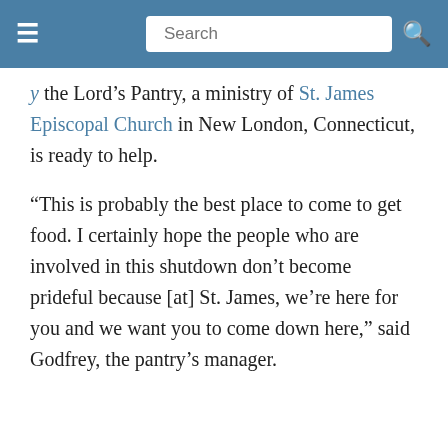Search
the Lord's Pantry, a ministry of St. James Episcopal Church in New London, Connecticut, is ready to help.
“This is probably the best place to come to get food. I certainly hope the people who are involved in this shutdown don’t become prideful because [at] St. James, we’re here for you and we want you to come down here,” said Godfrey, the pantry’s manager.